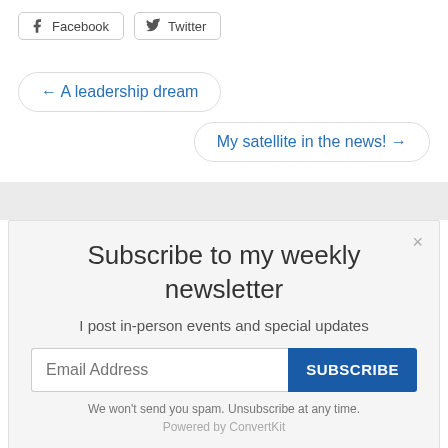[Figure (other): Facebook and Twitter share buttons at the top of the page]
← A leadership dream
My satellite in the news! →
Subscribe to my weekly newsletter
I post in-person events and special updates
Email Address
SUBSCRIBE
We won't send you spam. Unsubscribe at any time.
Powered by ConvertKit